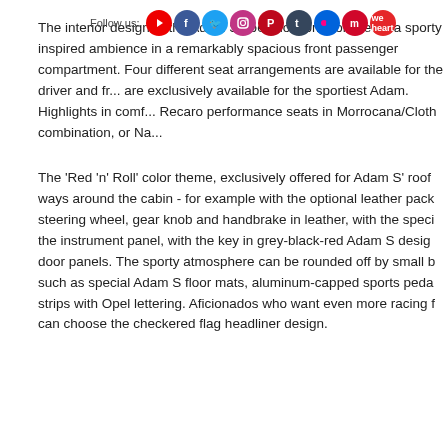The interior design of the Adam S does not compromise on a sporty inspired ambience in a remarkably spacious front passenger compartment. Four different seat arrangements are available for the driver and front passenger are exclusively available for the sportiest Adam. Highlights in comfort include Recaro performance seats in Morrocana/Cloth combination, or Na...
The 'Red 'n' Roll' color theme, exclusively offered for Adam S' roof and ways around the cabin - for example with the optional leather pack steering wheel, gear knob and handbrake in leather, with the special the instrument panel, with the key in grey-black-red Adam S design door panels. The sporty atmosphere can be rounded off by small b such as special Adam S floor mats, aluminum-capped sports peda strips with Opel lettering. Aficionados who want even more racing f can choose the checkered flag headliner design.